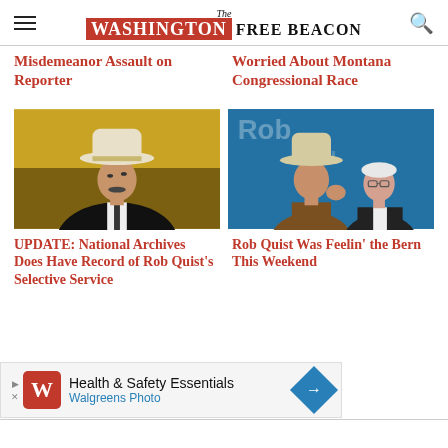The Washington Free Beacon
Misdemeanor Assault on Reporter
Worried About Montana Congressional Race
[Figure (photo): Man in white cowboy hat and dark suit looking up, against a yellow/golden background]
[Figure (photo): Two men at a political rally: man in cowboy hat in brown jacket, and older man with white hair in dark suit, blue background with campaign signage]
UPDATE: National Archives Does Have Record of Rob Quist's Selective Service
Rob Quist Was Feelin' the Bern This Weekend
[Figure (other): Walgreens Photo advertisement: Health & Safety Essentials]